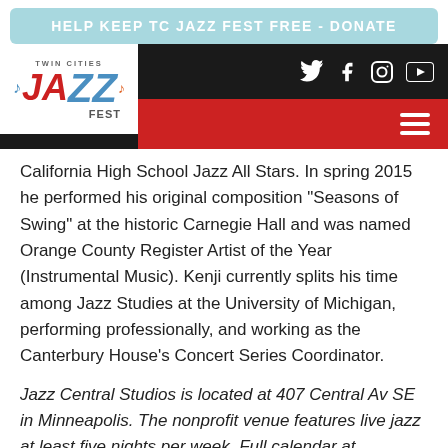HELP KEEP TC JAZZ FEST FREE - DONATE
[Figure (logo): Twin Cities Jazz Fest logo with stylized JAZz text in red and blue]
California High School Jazz All Stars. In spring 2015 he performed his original composition “Seasons of Swing” at the historic Carnegie Hall and was named Orange County Register Artist of the Year (Instrumental Music). Kenji currently splits his time among Jazz Studies at the University of Michigan, performing professionally, and working as the Canterbury House’s Concert Series Coordinator.
Jazz Central Studios is located at 407 Central Av SE in Minneapolis. The nonprofit venue features live jazz at least five nights per week. Full calendar at http://jazzcentralstudios.org. Hear both Will and Peter with the rest of Hoaxer (Charlie Lincoln and Edmund